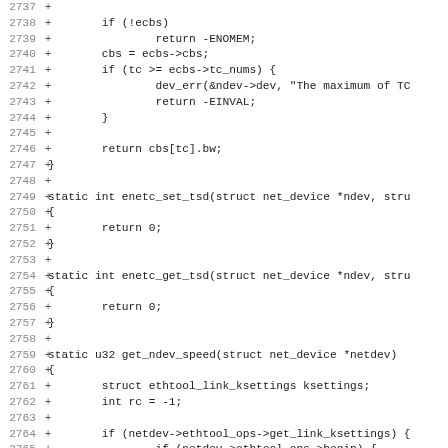Code diff showing C source lines 2737-2769 with line numbers and + markers indicating additions
2737 +
2738 +        if (!ecbs)
2739 +                return -ENOMEM;
2740 +        cbs = ecbs->cbs;
2741 +        if (tc >= ecbs->tc_nums) {
2742 +                dev_err(&ndev->dev, "The maximum of TC
2743 +                return -EINVAL;
2744 +        }
2745 +
2746 +        return cbs[tc].bw;
2747 +}
2748 +
2749 +static int enetc_set_tsd(struct net_device *ndev, stru
2750 +{
2751 +        return 0;
2752 +}
2753 +
2754 +static int enetc_get_tsd(struct net_device *ndev, stru
2755 +{
2756 +        return 0;
2757 +}
2758 +
2759 +static u32 get_ndev_speed(struct net_device *netdev)
2760 +{
2761 +        struct ethtool_link_ksettings ksettings;
2762 +        int rc = -1;
2763 +
2764 +        if (netdev->ethtool_ops->get_link_ksettings) {
2765 +                if (netdev->ethtool_ops->begin) {
2766 +                        rc = netdev->ethtool_ops->begin
2767 +                        if (rc < 0)
2768 +                                return 0;
2769 +                }